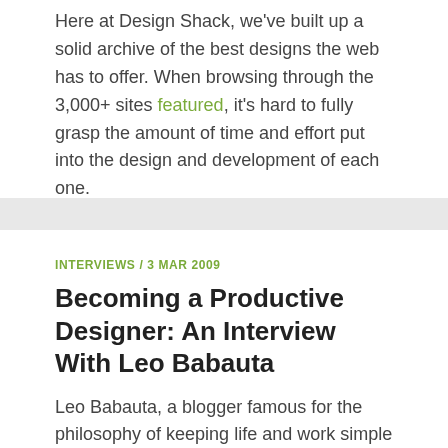Here at Design Shack, we've built up a solid archive of the best designs the web has to offer. When browsing through the 3,000+ sites featured, it's hard to fully grasp the amount of time and effort put into the design and development of each one.
INTERVIEWS / 3 MAR 2009
Becoming a Productive Designer: An Interview With Leo Babauta
Leo Babauta, a blogger famous for the philosophy of keeping life and work simple has kindly allowed us to interview him about blogging, design and how we can all work with less clutter...